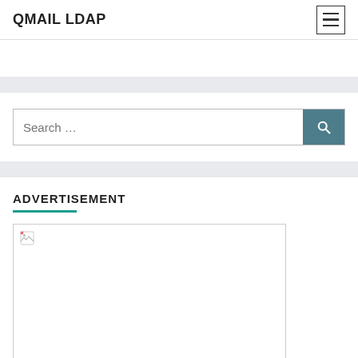QMAIL LDAP
[Figure (screenshot): Empty white card section at top]
[Figure (screenshot): Search bar with search button]
ADVERTISEMENT
[Figure (photo): Advertisement image placeholder with broken image icon]